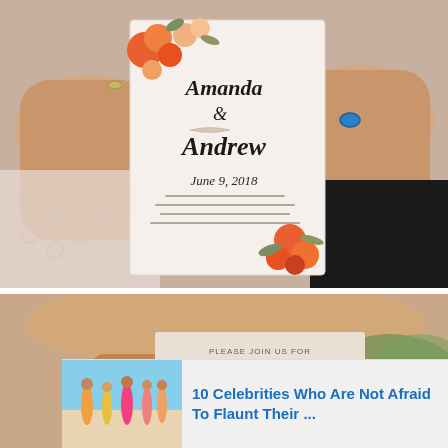[Figure (photo): Hands holding a floral wedding invitation with calligraphy reading 'Amanda & Andrew, June 9, 2018' with orange and peach roses decorating the card. Person wearing lace sleeves and a blue ring.]
[Figure (photo): Woman holding a wedding invitation card reading 'The WEDDING Nikole' with forest/pine tree imagery. Woman's face partially visible above the card.]
[Figure (photo): Advertisement thumbnail showing women in bikinis on a beach.]
10 Celebrities Who Are Not Afraid To Flaunt Their ...